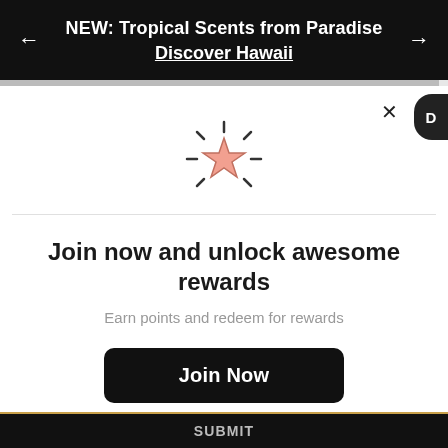NEW: Tropical Scents from Paradise
Discover Hawaii
[Figure (illustration): Star icon with radiating lines, reward/loyalty symbol]
Join now and unlock awesome rewards
Earn points and redeem for rewards
Join Now
Already a member? Sign in
SUBMIT